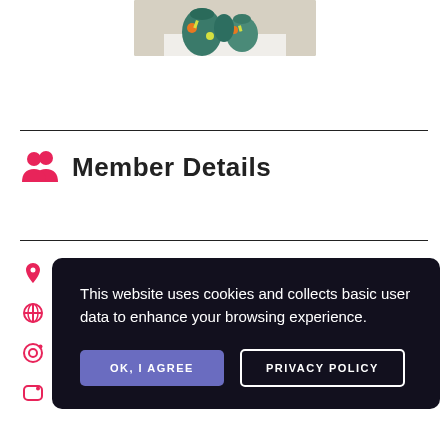[Figure (photo): Photo of colorful ceramic vessels on a white plinth]
Member Details
This website uses cookies and collects basic user data to enhance your browsing experience.
OK, I AGREE | PRIVACY POLICY